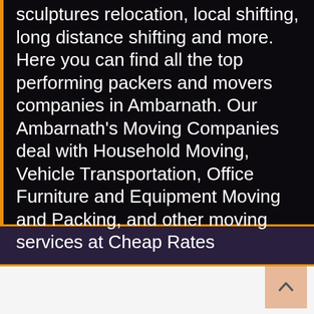sculptures relocation, local shifting, long distance shifting and more. Here you can find all the top performing packers and movers companies in Ambarnath. Our Ambarnath's Moving Companies deal with Household Moving, Vehicle Transportation, Office Furniture and Equipment Moving and Packing, and other moving services at Cheap Rates
[Figure (other): Scroll-to-top button with upward chevron arrow on a peach/salmon colored square background, positioned in the bottom right of a light gray section]